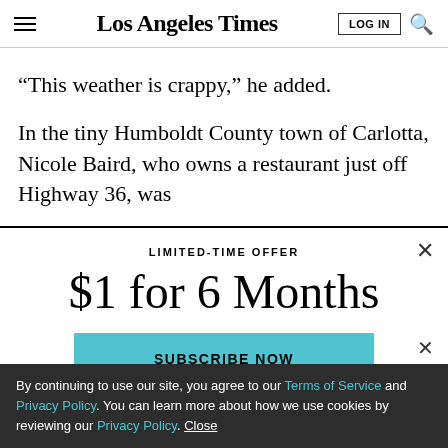Los Angeles Times
“This weather is crappy,” he added.
In the tiny Humboldt County town of Carlotta, Nicole Baird, who owns a restaurant just off Highway 36, was
LIMITED-TIME OFFER
$1 for 6 Months
SUBSCRIBE NOW
By continuing to use our site, you agree to our Terms of Service and Privacy Policy. You can learn more about how we use cookies by reviewing our Privacy Policy. Close